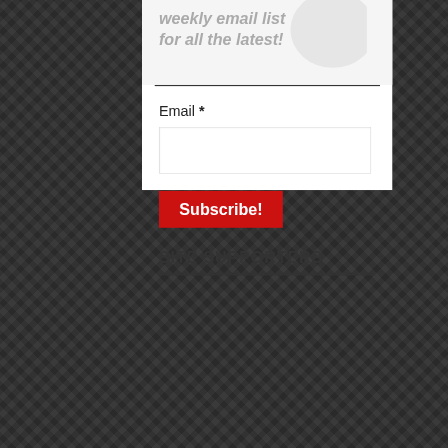weekly email list for all the latest!
Email *
SITE SUPPORTERS